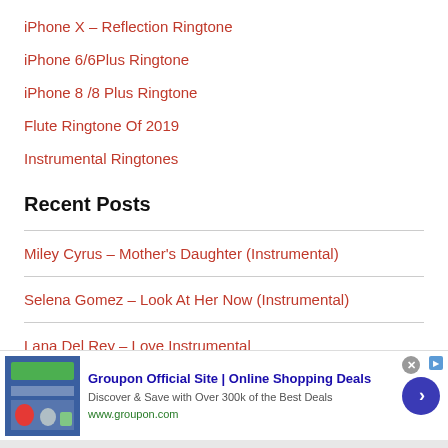iPhone X – Reflection Ringtone
iPhone 6/6Plus Ringtone
iPhone 8 /8 Plus Ringtone
Flute Ringtone Of 2019
Instrumental Ringtones
Recent Posts
Miley Cyrus – Mother's Daughter (Instrumental)
Selena Gomez – Look At Her Now (Instrumental)
Lana Del Rey – Love Instrumental
[Figure (other): Groupon advertisement banner with logo image, title 'Groupon Official Site | Online Shopping Deals', description 'Discover & Save with Over 300k of the Best Deals', URL www.groupon.com, close button, and blue arrow button]